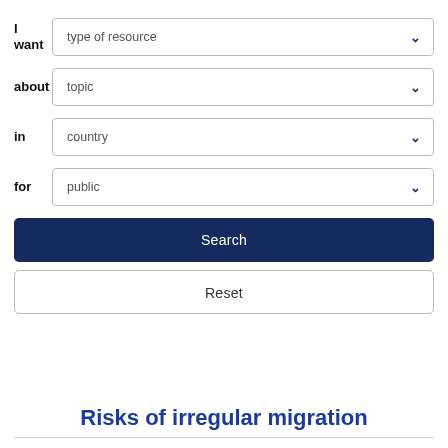[Figure (screenshot): A search form interface with four dropdown fields labeled: 'I want' (type of resource), 'about' (topic), 'in' (country), 'for' (public), followed by a dark blue Search button and a Reset button.]
Risks of irregular migration